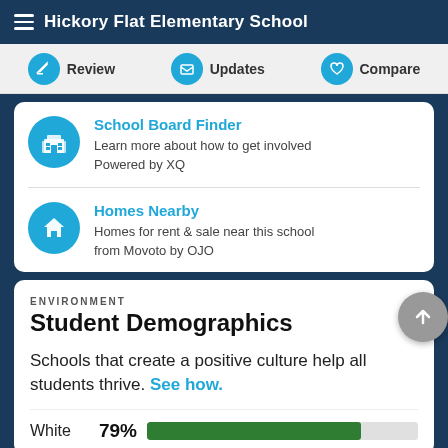Hickory Flat Elementary School
Review | Updates | Compare
School Board Finder
Learn more about how to get involved
Powered by XQ
Homes Nearby
Homes for rent & sale near this school from Movoto by OJO
ENVIRONMENT
Student Demographics
Schools that create a positive culture help all students thrive. See how.
White  79%